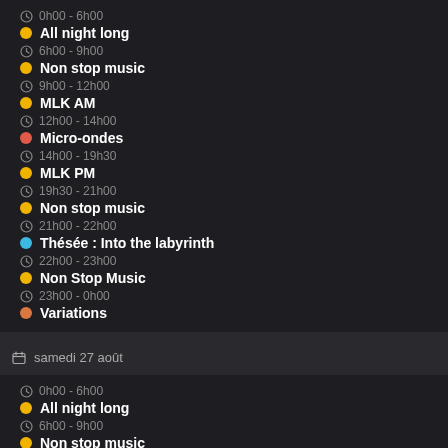0h00 - 6h00
All night long
6h00 - 9h00
Non stop music
9h00 - 12h00
MLK AM
12h00 - 14h00
Micro-ondes
14h00 - 19h30
MLK PM
19h30 - 21h00
Non stop music
21h00 - 22h00
Thésée : Into the labyrinth
22h00 - 23h00
Non Stop Music
23h00 - 0h00
Variations
samedi 27 août
0h00 - 6h00
All night long
6h00 - 9h00
Non stop music
9h00 - 12h00